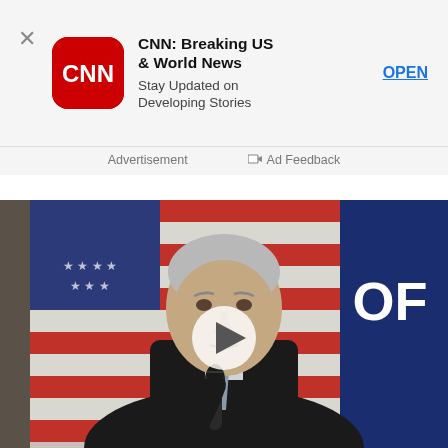[Figure (screenshot): CNN app advertisement banner with CNN logo, app title 'CNN: Breaking US & World News', subtitle 'Stay Updated on Developing Stories', and an OPEN button]
Advertisement
Ad Feedback
[Figure (photo): Video thumbnail showing an older man in a dark suit holding a microphone, with an American flag and a blue banner reading 'OF' in the background; a white circular play button is overlaid in the center]